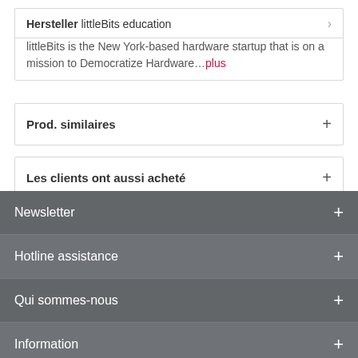Hersteller littleBits education
littleBits is the New York-based hardware startup that is on a mission to Democratize Hardware...plus
Prod. similaires
Les clients ont aussi acheté
littleBits
Newsletter
Hotline assistance
Qui sommes-nous
Information